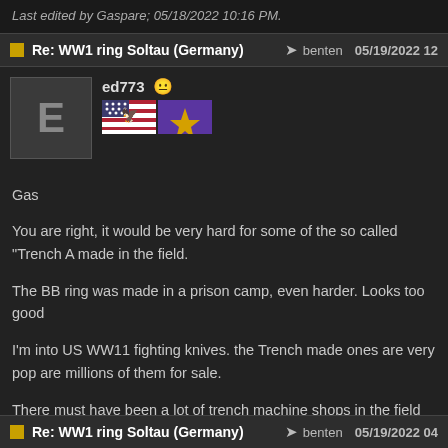Last edited by Gaspare; 05/18/2022 10:16 PM.
Re: WW1 ring Soltau (Germany)  benten  05/19/2022 12
ed773
Gas
You are right, it would be very hard for some of the so called "Trench A made in the field.
The BB ring was made in a prison camp, even harder. Looks too good
I'm into US WW11 fighting knives. the Trench made ones are very pop are millions of them for sale.
There must have been a lot of trench machine shops in the field during
It was World War Two, how did these guys have soo much time on the knives?/
It's part of the intrigue, we will really never know about some things.
Re: WW1 ring Soltau (Germany)  benten  05/19/2022 04